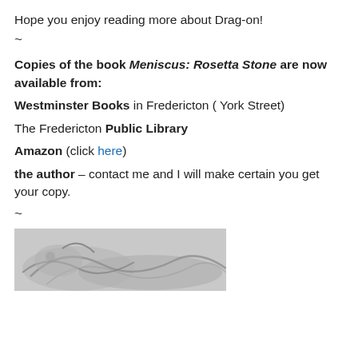Hope you enjoy reading more about Drag-on!
~
Copies of the book Meniscus: Rosetta Stone are now available from:
Westminster Books in Fredericton ( York Street)
The Fredericton Public Library
Amazon (click here)
the author – contact me and I will make certain you get your copy.
~
[Figure (illustration): Pencil sketch illustration, partially visible at bottom of page, appears to show a dragon or creature drawing in grayscale.]